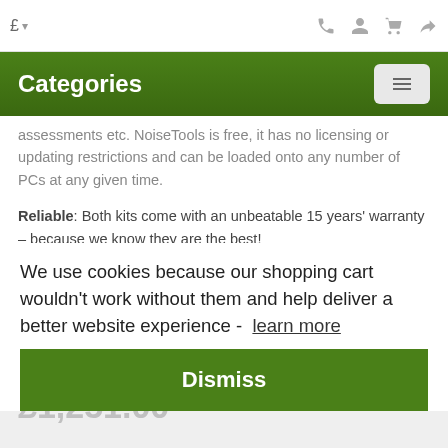£ ▾
Categories
assessments etc. NoiseTools is free, it has no licensing or updating restrictions and can be loaded onto any number of PCs at any given time.
Reliable: Both kits come with an unbeatable 15 years' warranty – because we know they are the best!
Product Details
We use cookies because our shopping cart wouldn't work without them and help deliver a better website experience -  learn more
Dismiss
Product Downloads
▸  Datasheet
£1,251.00